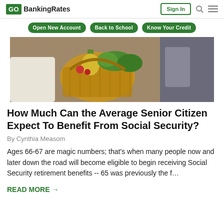GOBankingRates | Sign In
Open New Account | Back to School | Know Your Credit
[Figure (photo): Person holding a wicker basket filled with fresh vegetables and groceries including pineapple, leafy greens at a market]
How Much Can the Average Senior Citizen Expect To Benefit From Social Security?
By Cynthia Measom
Ages 66-67 are magic numbers; that's when many people now and later down the road will become eligible to begin receiving Social Security retirement benefits -- 65 was previously the f…
READ MORE →